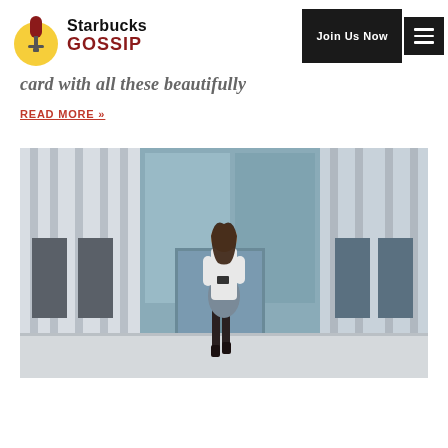Starbucks Gossip — Join Us Now
card with all these beautifully
READ MORE »
[Figure (photo): A woman in a white shirt and grey pencil skirt walking outside a modern glass-facade office building, looking at her phone.]